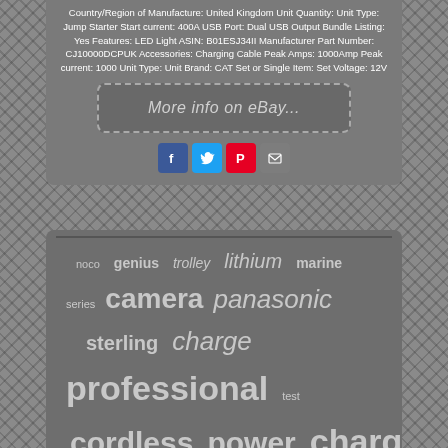Country/Region of Manufacture: United Kingdom Unit Quantity: Unit Type: Jump Starter Start current: 400A USB Port: Dual USB Output Bundle Listing: Yes Features: LED Light ASIN: B01ESJ34II Manufacturer Part Number: CJ10000DCPUK Accessories: Charging Cable Peak Amps: 1000Amp Peak current: 1000 Unit Type: Unit Brand: CAT Set or Single Item: Set Voltage: 12V
[Figure (screenshot): A dashed-border button with text 'More info on eBay...' on a dark background]
[Figure (infographic): Social media share icons: Facebook (blue), Twitter (blue), Pinterest (red), Email (grey)]
[Figure (infographic): Tag cloud of battery/charger related words: noco, genius, trolley, lithium, marine, series, camera, panasonic, sterling, charge, professional, test, cordless, power, charger]